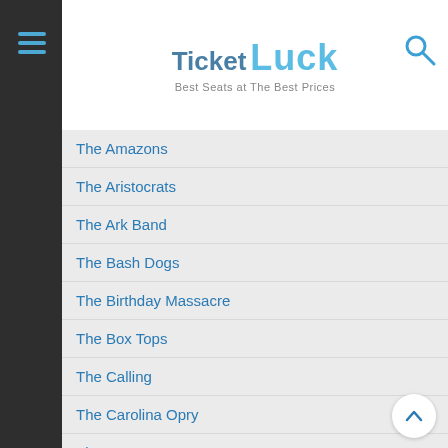TicketLuck — Best Seats at The Best Prices
The Amazons
The Aristocrats
The Ark Band
The Bash Dogs
The Birthday Massacre
The Box Tops
The Calling
The Carolina Opry
The Company Men
The Dead Boys
The Descendents